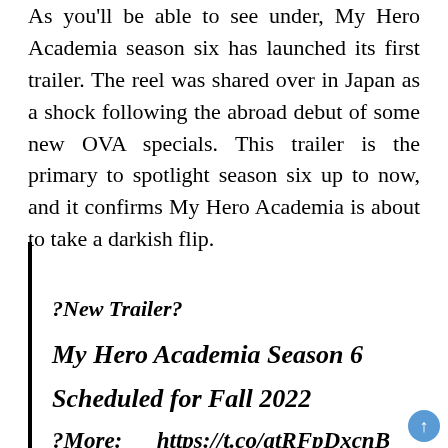As you'll be able to see under, My Hero Academia season six has launched its first trailer. The reel was shared over in Japan as a shock following the abroad debut of some new OVA specials. This trailer is the primary to spotlight season six up to now, and it confirms My Hero Academia is about to take a darkish flip.
?New Trailer?
My Hero Academia Season 6
Scheduled for Fall 2022
?More:      https://t.co/atRFpDxcnB